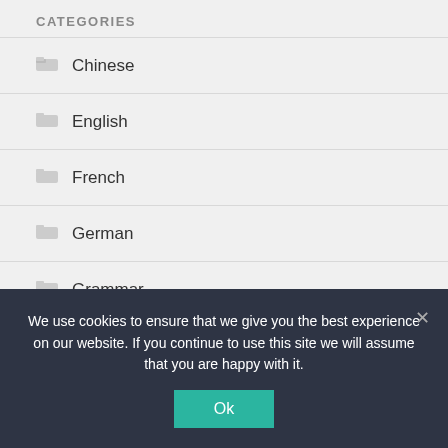CATEGORIES
Chinese
English
French
German
Grammar
Hindi
Japanese
We use cookies to ensure that we give you the best experience on our website. If you continue to use this site we will assume that you are happy with it.
Ok